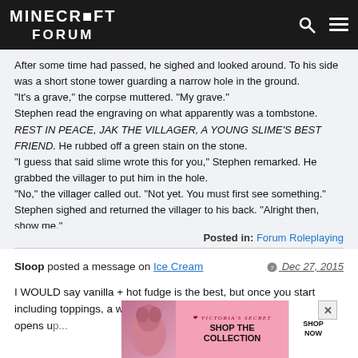Minecraft Forum
After some time had passed, he sighed and looked around. To his side was a short stone tower guarding a narrow hole in the ground.
"It's a grave," the corpse muttered. "My grave."
Stephen read the engraving on what apparently was a tombstone. REST IN PEACE, JAK THE VILLAGER, A YOUNG SLIME'S BEST FRIEND. He rubbed off a green stain on the stone.
"I guess that said slime wrote this for you," Stephen remarked. He grabbed the villager to put him in the hole.
"No," the villager called out. "Not yet. You must first see something."
Stephen sighed and returned the villager to his back. "Alright then, show me."
Posted in: Forum Roleplaying
Sloop posted a message on Ice Cream  Dec 27, 2015
I WOULD say vanilla + hot fudge is the best, but once you start including toppings, a whole new meta (we'd rather not talk about) opens up...